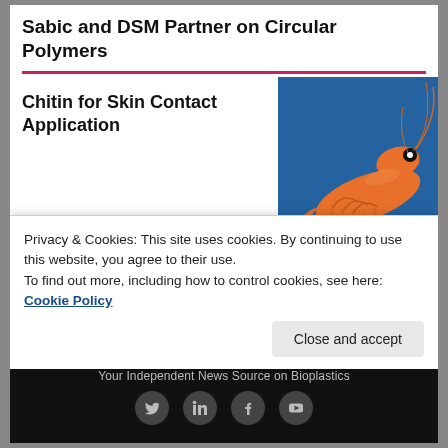Sabic and DSM Partner on Circular Polymers
Chitin for Skin Contact Application
[Figure (photo): Photo of a shrimp on a blue background]
NEXT ENTRY
Smurfit Kappa First Half 2021 Results
[Figure (other): Thumbnail image partially visible with large bold text]
Privacy & Cookies: This site uses cookies. By continuing to use this website, you agree to their use.
To find out more, including how to control cookies, see here: Cookie Policy
Close and accept
Your Independent News Source on Bioplastics